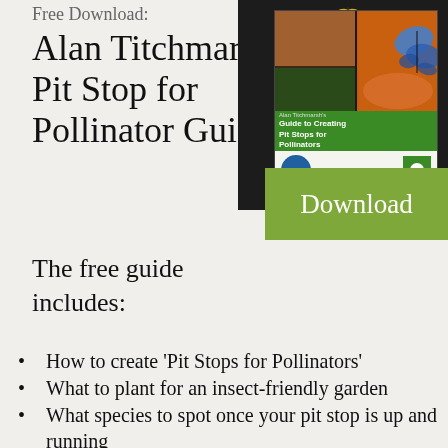Free Download: Alan Titchmarsh's Pit Stop for Pollinator Guide
[Figure (illustration): Book cover of Alan Titchmarsh's Guide to Creating Pit Stops for Pollinators, shown against a dark background, with a green Download button overlapping the bottom-right corner.]
The free guide includes:
How to create 'Pit Stops for Pollinators'
What to plant for an insect-friendly garden
What species to spot once your pit stop is up and running
How to maintain 'Pit Stops for Pollinators'
More ways that you can help protect these